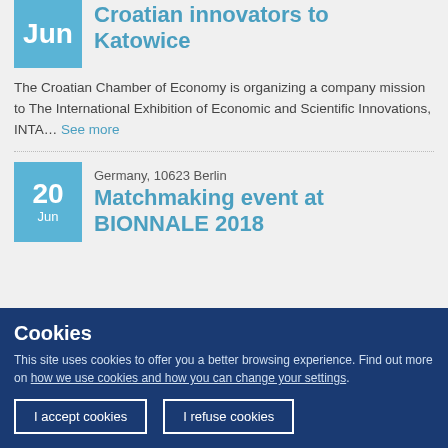Croatian innovators to Katowice
The Croatian Chamber of Economy is organizing a company mission to The International Exhibition of Economic and Scientific Innovations, INTA… See more
Germany, 10623 Berlin
Matchmaking event at BIONNALE 2018
Cookies
This site uses cookies to offer you a better browsing experience. Find out more on how we use cookies and how you can change your settings.
I accept cookies
I refuse cookies